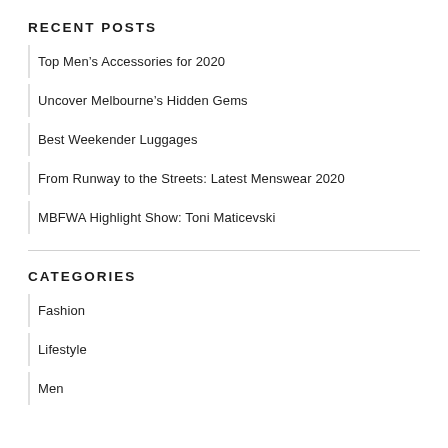RECENT POSTS
Top Men's Accessories for 2020
Uncover Melbourne's Hidden Gems
Best Weekender Luggages
From Runway to the Streets: Latest Menswear 2020
MBFWA Highlight Show: Toni Maticevski
CATEGORIES
Fashion
Lifestyle
Men